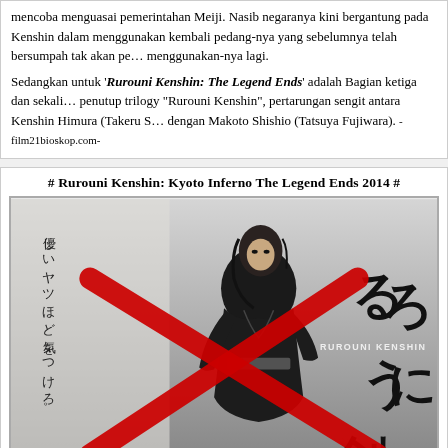mencoba menguasai pemerintahan Meiji. Nasib negaranya kini bergantung pada Kenshin dalam menggunakan kembali pedang-nya yang sebelumnya telah bersumpah tak akan menggunakan-nya lagi.
Sedangkan untuk 'Rurouni Kenshin: The Legend Ends' adalah Bagian ketiga dan sekaligus penutup trilogy "Rurouni Kenshin", pertarungan sengit antara Kenshin Himura (Takeru S) dengan Makoto Shishio (Tatsuya Fujiwara). -film21bioskop.com-
# Rurouni Kenshin: Kyoto Inferno The Legend Ends 2014 #
[Figure (photo): Movie poster for Rurouni Kenshin featuring a dark-haired samurai in traditional black kimono, with large Japanese calligraphy characters (るろうに剣心) on the right side, vertical Japanese text on the left (優しいヤツほど気をつけろ。), 'RUROUNI KENSHIN' text in the middle-right, and a large red X cross overlaid diagonally across the bottom half of the image.]